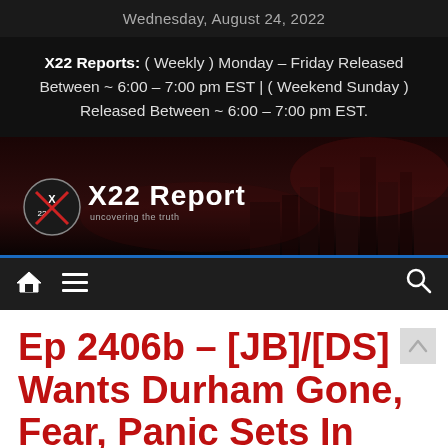Wednesday, August 24, 2022
X22 Reports: ( Weekly ) Monday – Friday Released Between ~ 6:00 – 7:00 pm EST | ( Weekend Sunday ) Released Between ~ 6:00 – 7:00 pm EST.
[Figure (logo): X22 Report banner logo with city skyline background in dark red tones]
[Figure (screenshot): Navigation bar with home icon, hamburger menu icon, and search icon on dark background with blue top border]
Ep 2406b – [JB]/[DS] Wants Durham Gone, Fear, Panic Sets In